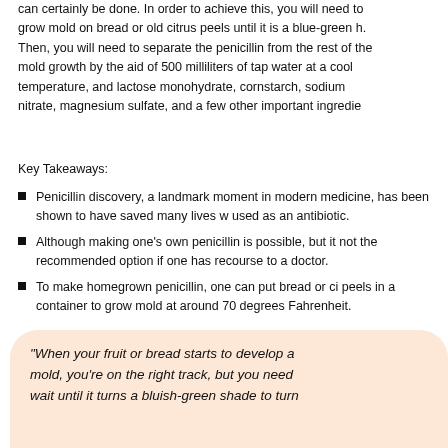can certainly be done. In order to achieve this, you will need to grow mold on bread or old citrus peels until it is a blue-green h. Then, you will need to separate the penicillin from the rest of the mold growth by the aid of 500 milliliters of tap water at a cool temperature, and lactose monohydrate, cornstarch, sodium nitrate, magnesium sulfate, and a few other important ingredie
Key Takeaways:
Penicillin discovery, a landmark moment in modern medicine, has been shown to have saved many lives w used as an antibiotic.
Although making one's own penicillin is possible, but it not the recommended option if one has recourse to a doctor.
To make homegrown penicillin, one can put bread or ci peels in a container to grow mold at around 70 degrees Fahrenheit.
"When your fruit or bread starts to develop a mold, you're on the right track, but you need wait until it turns a bluish-green shade to turn